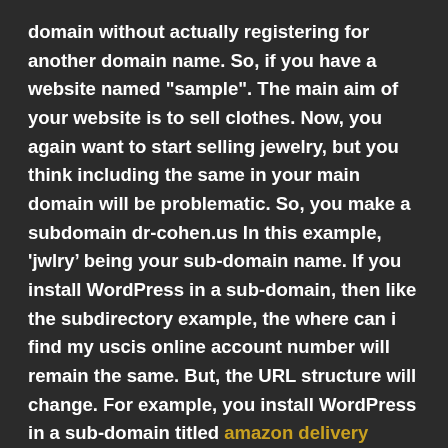domain without actually registering for another domain name. So, if you have a website named &quot;sample&quot;. The main aim of your website is to sell clothes. Now, you again want to start selling jewelry, but you think including the same in your main domain will be problematic. So, you make a subdomain dr-cohen.us In this example, &#39;jwlry&rsquo; being your sub-domain name. If you install WordPress in a sub-domain, then like the subdirectory example, the where can i find my uscis online account number will remain the same. But, the URL structure will change. For example, you install WordPress in a sub-domain titled amazon delivery careers. So, to find your login URL, you have to type. dr-cohen.us or dr-cohen.us or dr-cohen.us or dr-cohen.us Now, once you reach your dashboard successfully using one of the URLs, you can make your life a bit easy by doing the following.